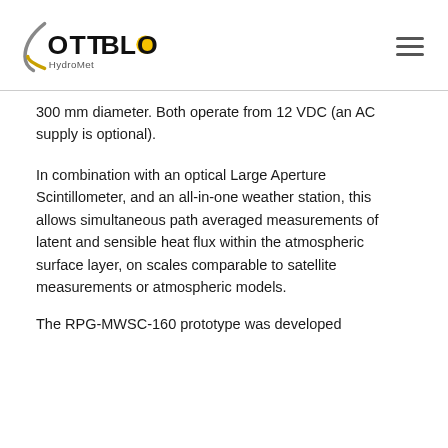OTT BLOG HydroMet
300 mm diameter. Both operate from 12 VDC (an AC supply is optional).
In combination with an optical Large Aperture Scintillometer, and an all-in-one weather station, this allows simultaneous path averaged measurements of latent and sensible heat flux within the atmospheric surface layer, on scales comparable to satellite measurements or atmospheric models.
The RPG-MWSC-160 prototype was developed